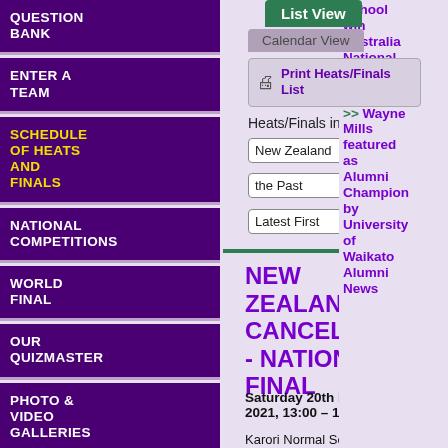QUESTION BANK
ENTER A TEAM
SCHEDULE OF HEATS AND FINALS
NATIONAL COMPETITIONS
WORLD FINAL
OUR QUIZMASTER
PHOTO & VIDEO GALLERIES
List View
Calendar View
Print Heats/Finals List
Heats/Finals in
New Zealand in
the Past ,
Latest First OK
NEW ZEALAND -- CANCELLED - - NATIONAL FINAL
Saturday 20th November 2021, 13:00 – 15:30
Karori Normal School,
[Figure (illustration): New Zealand flag with Union Jack and four red stars on blue background, with 'NEW ZEALAND' caption below]
School win Australia National Final 2022
>> Wayne Mills featured as Alumni Champion by University of Waikato Alumni News